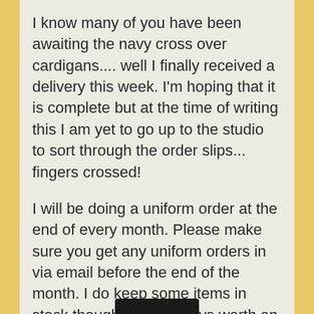I know many of you have been awaiting the navy cross over cardigans.... well I finally received a delivery this week. I'm hoping that it is complete but at the time of writing this I am yet to go up to the studio to sort through the order slips... fingers crossed!
I will be doing a uniform order at the end of every month. Please make sure you get any uniform orders in via email before the end of the month. I do keep some items in stock though so it's always worth an ask if you miss the deadline!
Shows & Competitions...
We are hoping to book our 2022 show and cheer competitions in very shortly. Keep your eyes peeled for more information coming soon.